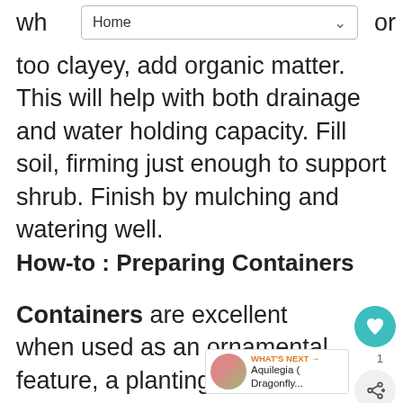Home
too clayey, add organic matter. This will help with both drainage and water holding capacity. Fill soil, firming just enough to support shrub. Finish by mulching and watering well.
How-to : Preparing Containers
Containers are excellent when used as an ornamental feature, a planting option when there is little or no soil to plant in, or for plants that require a soil type not found in the garden or when soil drainage in the garden is inferior. If growing more than one plant in a container, make sure that all have